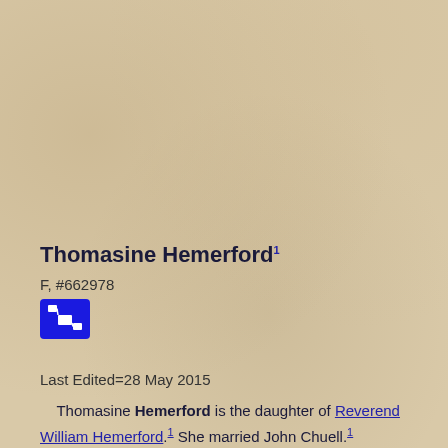Thomasine Hemerford1
F, #662978
[Figure (other): Blue icon button with organizational chart symbol]
Last Edited=28 May 2015
Thomasine Hemerford is the daughter of Reverend William Hemerford.1 She married John Chuell.1